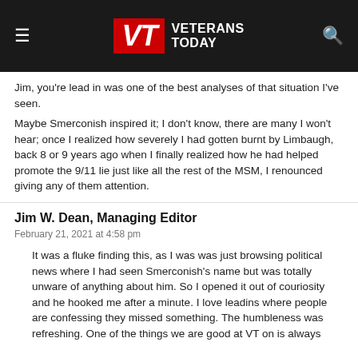VT VETERANS TODAY
Jim, you're lead in was one of the best analyses of that situation I've seen.
Maybe Smerconish inspired it; I don't know, there are many I won't hear; once I realized how severely I had gotten burnt by Limbaugh, back 8 or 9 years ago when I finally realized how he had helped promote the 9/11 lie just like all the rest of the MSM, I renounced giving any of them attention.
Jim W. Dean, Managing Editor
February 21, 2021 at 4:58 pm
It was a fluke finding this, as I was was just browsing political news where I had seen Smerconish's name but was totally unware of anything about him. So I opened it out of couriosity and he hooked me after a minute. I love leadins where people are confessing they missed something. The humbleness was refreshing. One of the things we are good at VT on is always